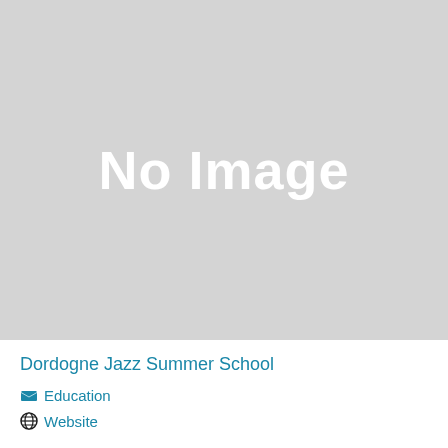[Figure (photo): No Image placeholder — grey rectangle with white 'No Image' text]
Dordogne Jazz Summer School
Education
Website